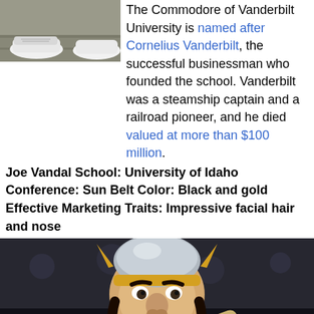[Figure (photo): Partial photo showing feet/shoes at top of page, cropped]
The Commodore of Vanderbilt University is named after Cornelius Vanderbilt, the successful businessman who founded the school. Vanderbilt was a steamship captain and a railroad pioneer, and he died valued at more than $100 million.
Joe Vandal School: University of Idaho Conference: Sun Belt Color: Black and gold Effective Marketing Traits: Impressive facial hair and nose
[Figure (photo): Photo of Joe Vandal mascot for University of Idaho — a costumed character with a viking helmet, large mustache, beard, wearing an IDAHO jersey, posing in a sports arena.]